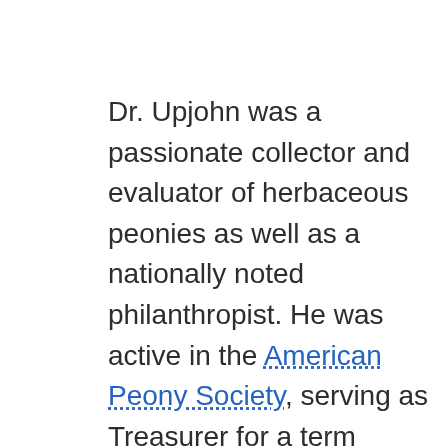Dr. Upjohn was a passionate collector and evaluator of herbaceous peonies as well as a nationally noted philanthropist. He was active in the American Peony Society, serving as Treasurer for a term beginning in 1923.
His personal estate near Kalamazoo held over 600